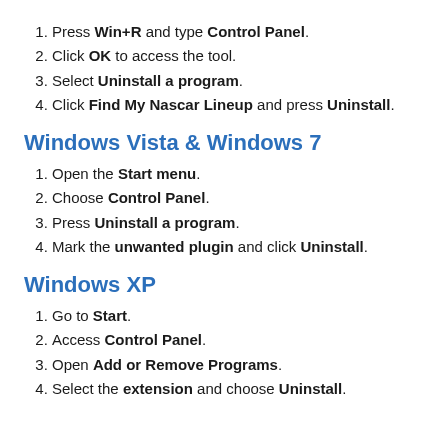Press Win+R and type Control Panel.
Click OK to access the tool.
Select Uninstall a program.
Click Find My Nascar Lineup and press Uninstall.
Windows Vista & Windows 7
Open the Start menu.
Choose Control Panel.
Press Uninstall a program.
Mark the unwanted plugin and click Uninstall.
Windows XP
Go to Start.
Access Control Panel.
Open Add or Remove Programs.
Select the extension and choose Uninstall.